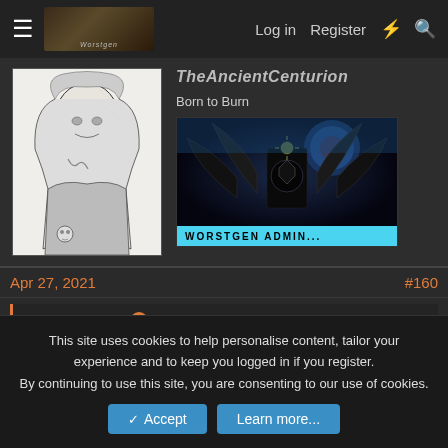Log in  Register
[Figure (screenshot): Forum user profile section showing avatar (black and white comic art of a figure with long hair), username TheAncientCenturion in italic, user title 'Born to Burn', and a badge image with text 'WORSTGEN ADMIN' on a cyan bar, overlaid on a dark fantasy artwork]
Apr 27, 2021  #160
Dragomir said: ↑
If y'all want him in that much, then sure, I'll draft up another role, but yeah, no one's leaving.
This site uses cookies to help personalise content, tailor your experience and to keep you logged in if you register.
By continuing to use this site, you are consenting to our use of cookies.
Accept  Learn more...